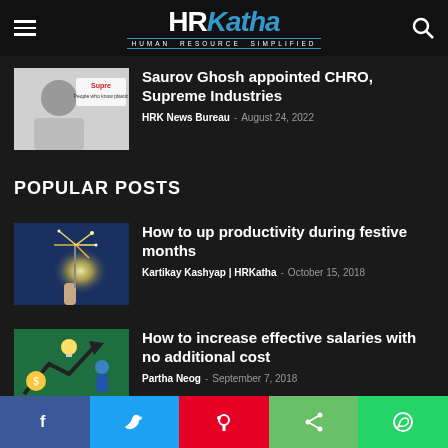HRKatha - Human Resource Simplified
[Figure (photo): Saurov Ghosh headshot with Supreme Industries logo]
Saurov Ghosh appointed CHRO, Supreme Industries
HRK News Bureau - August 24, 2022
POPULAR POSTS
[Figure (photo): Hand holding sparkler - festive productivity article image]
How to up productivity during festive months
Kartikay Kashyap | HRKatha - October 15, 2018
[Figure (photo): Illustration showing idea to increase effective salary with arrow and figures]
How to increase effective salaries with no additional cost
Partha Neog - September 7, 2018
Social share bar: Facebook, Twitter, Pinterest, Share, WhatsApp